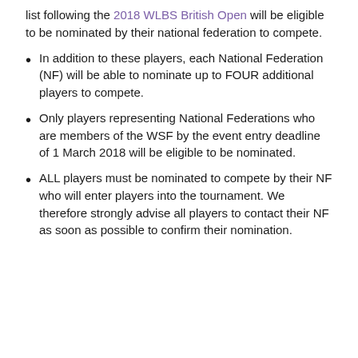list following the 2018 WLBS British Open will be eligible to be nominated by their national federation to compete.
In addition to these players, each National Federation (NF) will be able to nominate up to FOUR additional players to compete.
Only players representing National Federations who are members of the WSF by the event entry deadline of 1 March 2018 will be eligible to be nominated.
ALL players must be nominated to compete by their NF who will enter players into the tournament. We therefore strongly advise all players to contact their NF as soon as possible to confirm their nomination.